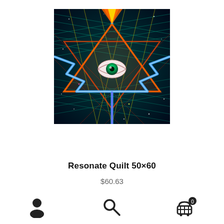[Figure (illustration): Psychedelic digital artwork showing a glowing eye inside a triangle (all-seeing eye), surrounded by colorful geometric grid lines in teal, red, orange, yellow, and purple with cosmic starfield background. Bright blue lightning bolt-like streams flow from top and bottom through the triangular pyramid motif.]
Resonate Quilt 50×60
$60.63
[Figure (other): Navigation bar with three icons: user/account icon (person silhouette), search icon (magnifying glass), and shopping cart icon with badge showing '0'.]